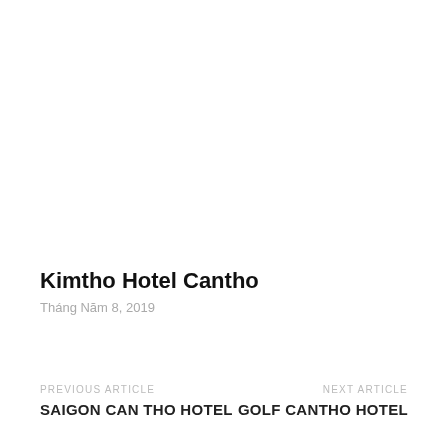Kimtho Hotel Cantho
Tháng Năm 8, 2019
PREVIOUS ARTICLE
SAIGON CAN THO HOTEL
NEXT ARTICLE
GOLF CANTHO HOTEL